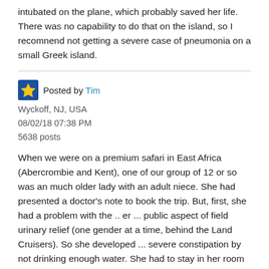intubated on the plane, which probably saved her life. There was no capability to do that on the island, so I recomnend not getting a severe case of pneumonia on a small Greek island.
Posted by Tim
Wyckoff, NJ, USA
08/02/18 07:38 PM
5638 posts
When we were on a premium safari in East Africa (Abercrombie and Kent), one of our group of 12 or so was an much older lady with an adult niece. She had presented a doctor's note to book the trip. But, first, she had a problem with the .. er ... public aspect of field urinary relief (one gender at a time, behind the Land Cruisers). So she developed ... severe constipation by not drinking enough water. She had to stay in her room for several days. There are no doctors in permanent tented camps in the African bush, needless to say. Then on the way home, in the Masai Mara area airport, she missed the step down from the